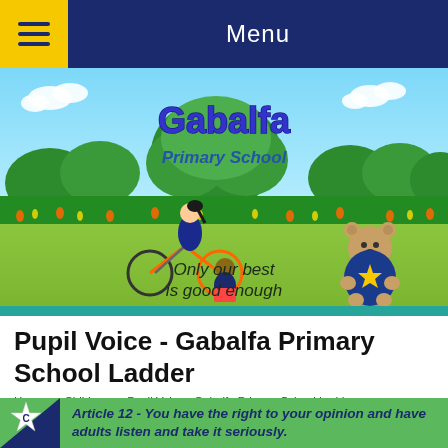Menu
[Figure (illustration): Gabalfa Primary School illustrated banner showing cartoon children and a teddy bear in a green outdoor setting with a large tree. Text reads 'Gabalfa Primary School' and 'Only our best is good enough'.]
Pupil Voice - Gabalfa Primary School Ladder
Home >> Children >> Pupil Voice - Gabalfa Primary School Ladder
Article 12 - You have the right to your opinion and have adults listen and take it seriously.